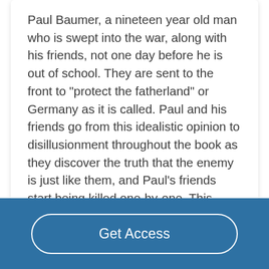Paul Baumer, a nineteen year old man who is swept into the war, along with his friends, not one day before he is out of school. They are sent to the front to "protect the fatherland" or Germany as it is called. Paul and his friends go from this idealistic opinion to disillusionment throughout the book as they discover the truth that the enemy is just like them, and Paul's friends start being killed one-by-one. This novel is a gripping account of how war is most of the time bloody and horrid....
Read More
Get Access